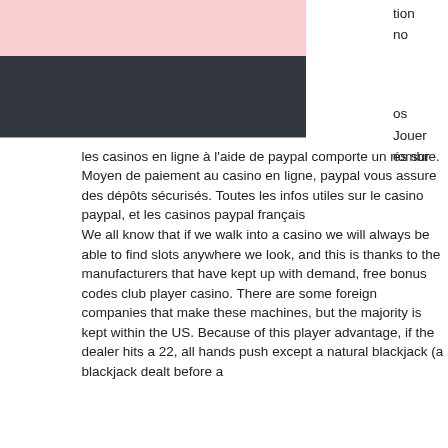[Figure (other): Pink decorative block (partial, cropped at left edge)]
[Figure (other): Dark grey/charcoal decorative block (partial, cropped at left edge)]
tion
no
os
Jouer
és sur les casinos en ligne à l'aide de paypal comporte un nombre. Moyen de paiement au casino en ligne, paypal vous assure des dépôts sécurisés. Toutes les infos utiles sur le casino paypal, et les casinos paypal français
We all know that if we walk into a casino we will always be able to find slots anywhere we look, and this is thanks to the manufacturers that have kept up with demand, free bonus codes club player casino. There are some foreign companies that make these machines, but the majority is kept within the US. Because of this player advantage, if the dealer hits a 22, all hands push except a natural blackjack (a blackjack dealt before a